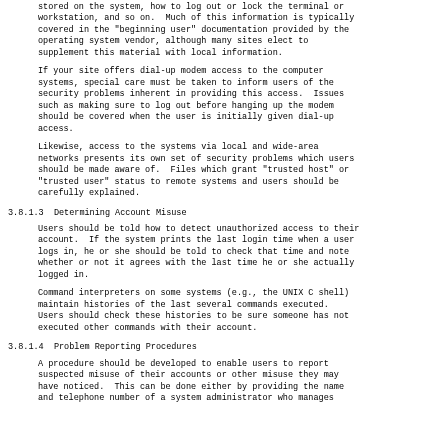stored on the system, how to log out or lock the terminal or workstation, and so on.  Much of this information is typically covered in the "beginning user" documentation provided by the operating system vendor, although many sites elect to supplement this material with local information.
If your site offers dial-up modem access to the computer systems, special care must be taken to inform users of the security problems inherent in providing this access.  Issues such as making sure to log out before hanging up the modem should be covered when the user is initially given dial-up access.
Likewise, access to the systems via local and wide-area networks presents its own set of security problems which users should be made aware of.  Files which grant "trusted host" or "trusted user" status to remote systems and users should be carefully explained.
3.8.1.3  Determining Account Misuse
Users should be told how to detect unauthorized access to their account.  If the system prints the last login time when a user logs in, he or she should be told to check that time and note whether or not it agrees with the last time he or she actually logged in.
Command interpreters on some systems (e.g., the UNIX C shell) maintain histories of the last several commands executed.  Users should check these histories to be sure someone has not executed other commands with their account.
3.8.1.4  Problem Reporting Procedures
A procedure should be developed to enable users to report suspected misuse of their accounts or other misuse they may have noticed.  This can be done either by providing the name and telephone number of a system administrator who manages...